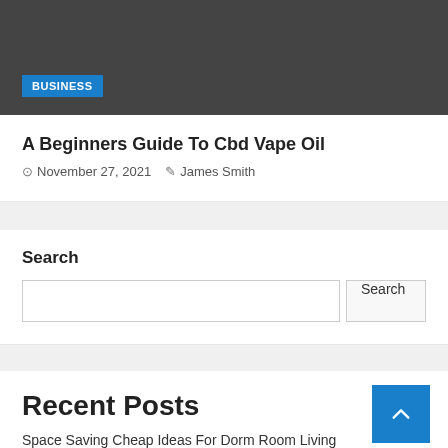[Figure (photo): Dark gray header image area with a blue BUSINESS category badge in the lower left]
A Beginners Guide To Cbd Vape Oil
November 27, 2021   James Smith
Search
Search input field and Search button
Recent Posts
Space Saving Cheap Ideas For Dorm Room Living
Cbd Oil Vs Tincture